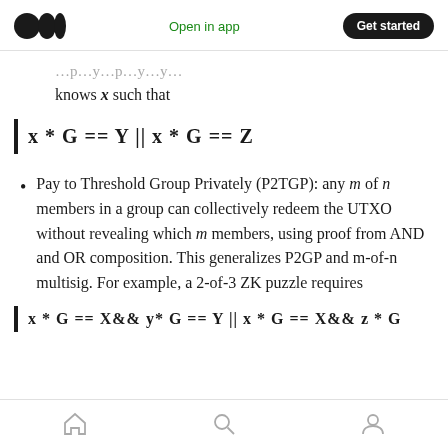Open in app | Get started
…p…y…p…y…y… knows x such that
Pay to Threshold Group Privately (P2TGP): any m of n members in a group can collectively redeem the UTXO without revealing which m members, using proof from AND and OR composition. This generalizes P2GP and m-of-n multisig. For example, a 2-of-3 ZK puzzle requires